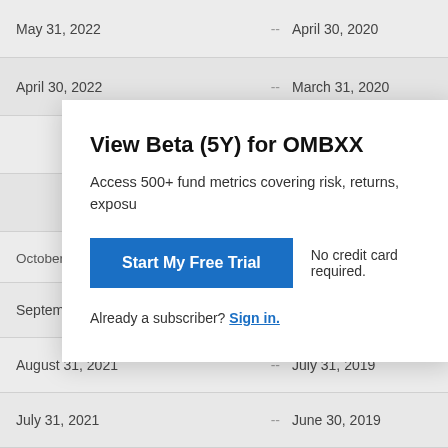| Date |  | Date |
| --- | --- | --- |
| May 31, 2022 | -- | April 30, 2020 |
| April 30, 2022 | -- | March 31, 2020 |
| October 31, 2021 | -- | September 30, |
| September 30, 2021 | -- | August 31, 2019 |
| August 31, 2021 | -- | July 31, 2019 |
| July 31, 2021 | -- | June 30, 2019 |
View Beta (5Y) for OMBXX
Access 500+ fund metrics covering risk, returns, exposu
Start My Free Trial
No credit card required.
Already a subscriber? Sign in.